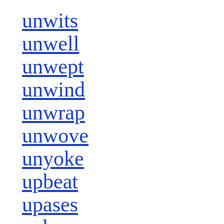unwits
unwell
unwept
unwind
unwrap
unwove
unyoke
upbeat
upases
upbear